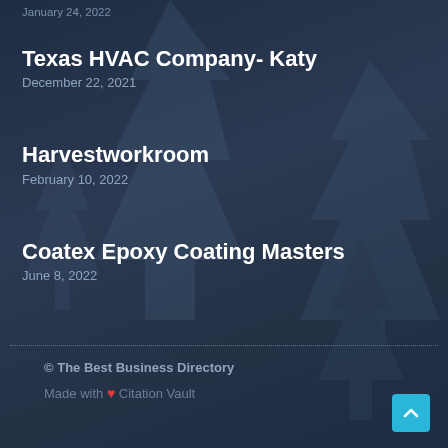January 24, 2022
Texas HVAC Company- Katy
December 22, 2021
Harvestworkroom
February 10, 2022
Coatex Epoxy Coating Masters
June 8, 2022
© The Best Business Directory
Made with ❤ Citation Vault